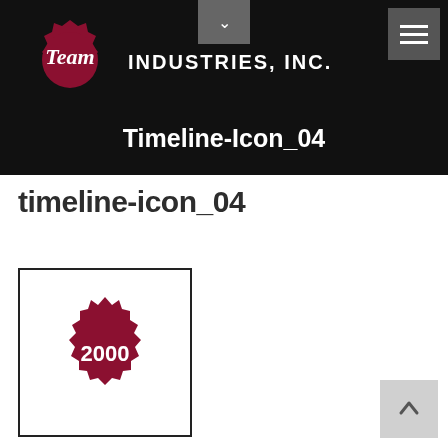[Figure (logo): Team Industries, Inc. logo with red badge/seal and company name in white text on black background header]
Timeline-Icon_04
timeline-icon_04
[Figure (illustration): Red/crimson starburst badge seal with the year 2000 in white text, displayed in a black-bordered box]